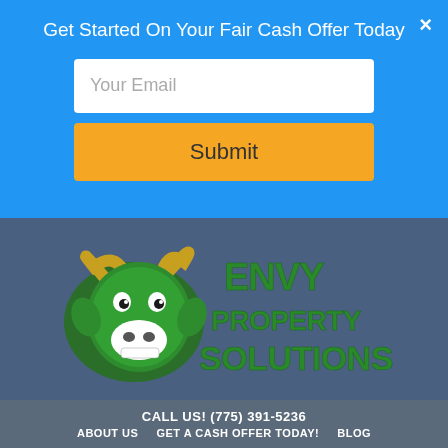Get Started On Your Fair Cash Offer Today
Your Email
Submit
[Figure (logo): Envy Property Solutions logo with green ram/goat mascot and stylized green text reading ENVYPROPERTY SOLUTIONS]
CALL US! (775) 391-5236
ABOUT US   GET A CASH OFFER TODAY!   BLOG
Sell Your House Fast in